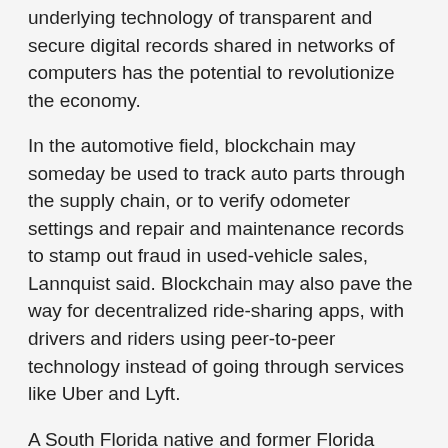underlying technology of transparent and secure digital records shared in networks of computers has the potential to revolutionize the economy.
In the automotive field, blockchain may someday be used to track auto parts through the supply chain, or to verify odometer settings and repair and maintenance records to stamp out fraud in used-vehicle sales, Lannquist said. Blockchain may also pave the way for decentralized ride-sharing apps, with drivers and riders using peer-to-peer technology instead of going through services like Uber and Lyft.
A South Florida native and former Florida state taekwondo champion, Lannquist arrived at Haas with her sights set on fintech. She was awarded the Haas School's C & J White Fellowship based on her essay about wanting to help start a fintech club at Berkeley, which she proceed to do before she matriculated.